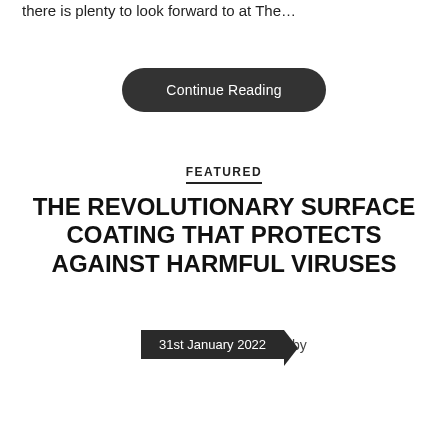there is plenty to look forward to at The…
Continue Reading
FEATURED
THE REVOLUTIONARY SURFACE COATING THAT PROTECTS AGAINST HARMFUL VIRUSES
31st January 2022  by